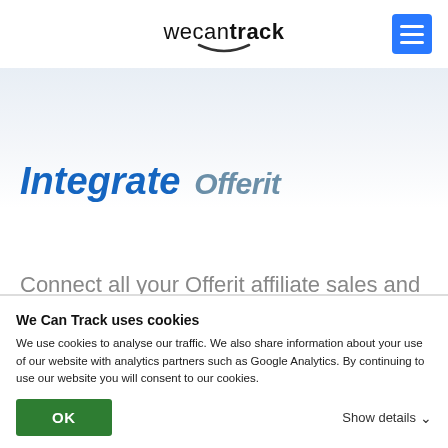wecantrack
Integrate Offerit
Connect all your Offerit affiliate sales and lead data with custom dashboards and
We Can Track uses cookies
We use cookies to analyse our traffic. We also share information about your use of our website with analytics partners such as Google Analytics. By continuing to use our website you will consent to our cookies.
OK    Show details